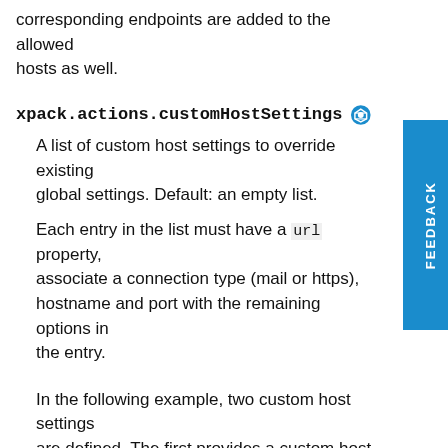corresponding endpoints are added to the allowed hosts as well.
xpack.actions.customHostSettings
A list of custom host settings to override existing global settings. Default: an empty list.
Each entry in the list must have a url property, associate a connection type (mail or https), hostname and port with the remaining options in the entry.
In the following example, two custom host settings are defined. The first provides a custom host setting for mail server mail.example.com using port 465 that supplies server certificate authentication data from both a file and inline, and requires TLS for the connection. The second provides a custom host setting for https server webhook.example.com which turns off server